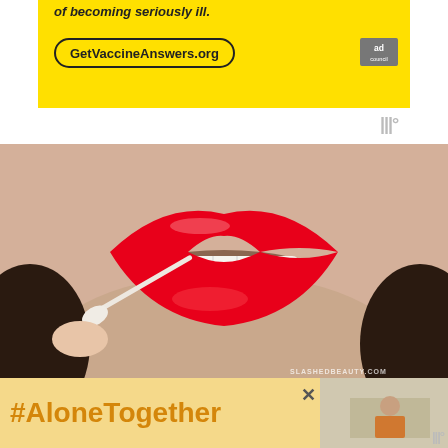[Figure (other): Yellow Ad Council banner for GetVaccineAnswers.org with text 'of becoming seriously ill.' and a bordered URL link and Ad Council logo]
[Figure (photo): Close-up photo of a woman's lips with bright red lipstick being applied/cleaned with a Q-tip cotton swab. Watermark reads SLASHEDBEAUTY.COM]
The Q-tips Precision Tips are portable and convenient, allowing you
[Figure (other): Overlay ad banner with yellow background showing #AloneTogether hashtag in orange, with an X close button and a thumbnail image of a person on the right, and a Millennial logo]